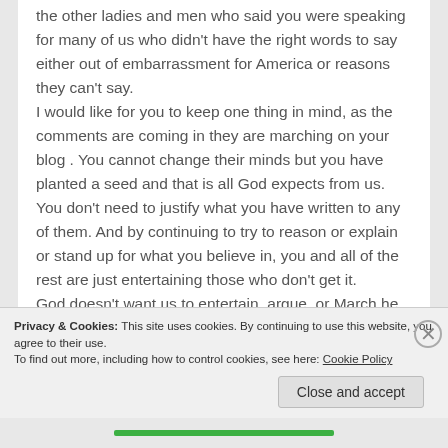the other ladies and men who said you were speaking for many of us who didn't have the right words to say either out of embarrassment for America or reasons they can't say.
I would like for you to keep one thing in mind, as the comments are coming in they are marching on your blog . You cannot change their minds but you have planted a seed and that is all God expects from us. You don't need to justify what you have written to any of them. And by continuing to try to reason or explain or stand up for what you believe in, you and all of the rest are just entertaining those who don't get it.
God doesn't want us to entertain, argue, or March he simply wants us to spread seeds for his love as
Privacy & Cookies: This site uses cookies. By continuing to use this website, you agree to their use.
To find out more, including how to control cookies, see here: Cookie Policy
Close and accept